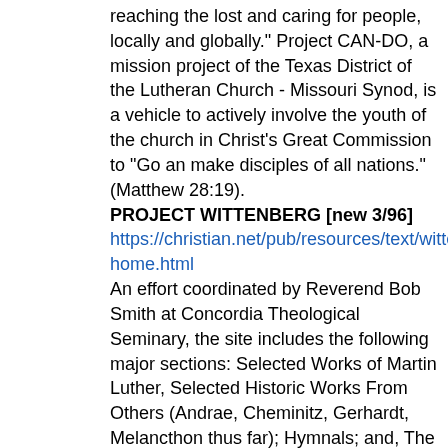reaching the lost and caring for people, locally and globally." Project CAN-DO, a mission project of the Texas District of the Lutheran Church - Missouri Synod, is a vehicle to actively involve the youth of the church in Christ's Great Commission to "Go an make disciples of all nations." (Matthew 28:19).
PROJECT WITTENBERG [new 3/96]
https://christian.net/pub/resources/text/wittenberg/wittenb home.html
An effort coordinated by Reverend Bob Smith at Concordia Theological Seminary, the site includes the following major sections: Selected Works of Martin Luther, Selected Historic Works From Others (Andrae, Cheminitz, Gerhardt, Melancthon thus far); Hymnals; and, The Book of Concord. Included are major Lutheran Church Missouri Synod (LCMS) documents and position papers, and a series of Sermon Notes from the Russian Gospels, a project resulting from Dr. Harold Bul's work with missions in St. Petersburg, Russia. Links are provided to additional LCMS network locations, and to related Project Wittenberg sites by anonymous FTP and Gopher. Winner of Point's Top 5% survey. See the Gopher related resources section in this guide for PW's primary Gopher site